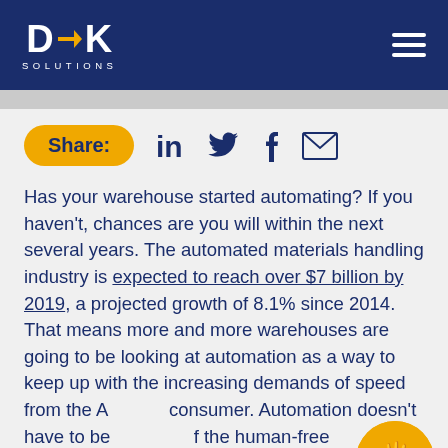DAK SOLUTIONS
[Figure (logo): DAK Solutions logo with arrow icon, white text on dark navy blue background, with hamburger menu icon on right]
Share:
Has your warehouse started automating? If you haven't, chances are you will within the next several years. The automated materials handling industry is expected to reach over $7 billion by 2019, a projected growth of 8.1% since 2014. That means more and more warehouses are going to be looking at automation as a way to keep up with the increasing demands of speed from the Amazon consumer. Automation doesn't have to be a vision of the human-free warehouse with robots zipping around, but it can incorporate the demand that is